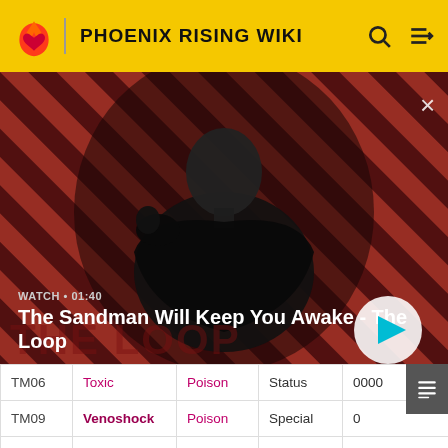PHOENIX RISING WIKI
[Figure (screenshot): Video thumbnail for 'The Sandman Will Keep You Awake - The Loop', showing a dark-cloaked figure against a red diagonal-striped background. Label shows WATCH • 01:40 with a play button.]
|  | Move | Type | Category | PP |
| --- | --- | --- | --- | --- |
| TM06 | Toxic | Poison | Status | 0000 |
| TM09 | Venoshock | Poison | Special | 0 |
| TM10 | Hidden Power | Normal | Special | 0606 |
| TM11 | ... | Fire | Status | 0000 |